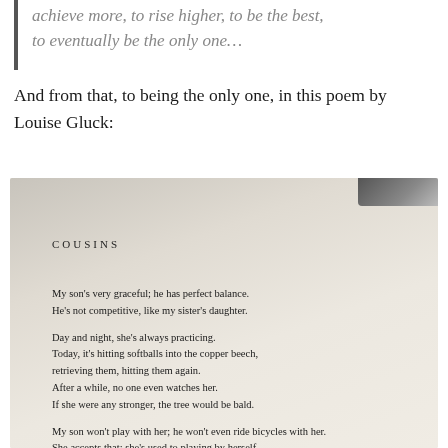achieve more, to rise higher, to be the best, to eventually be the only one…
And from that, to being the only one, in this poem by Louise Gluck:
[Figure (photo): Photograph of a book page showing the poem 'COUSINS' by Louise Gluck. The poem text reads: 'My son's very graceful; he has perfect balance. He's not competitive, like my sister's daughter. Day and night, she's always practicing. Today, it's hitting softballs into the copper beech, retrieving them, hitting them again. After a while, no one even watches her. If she were any stronger, the tree would be bald. My son won't play with her; he won't even ride bicycles with her. She accepts that; she's used to playing by herself. The way she sees it, it isn't personal:']